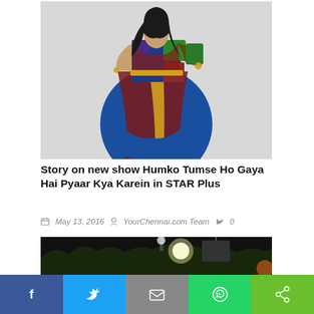[Figure (photo): A woman wearing a colorful embroidered ethnic outfit with blue, red, and yellow draped fabric, posing against a light grey background.]
Story on new show Humko Tumse Ho Gaya Hai Pyaar Kya Karein in STAR Plus
May 13, 2016  YourChennai.com Team  0
[Figure (photo): A dark outdoor scene with bright stage/studio lighting equipment visible.]